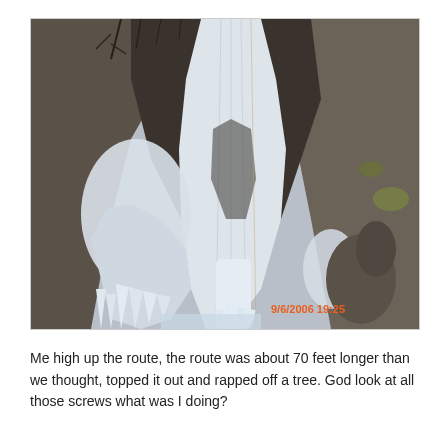[Figure (photo): A frozen waterfall on a rocky cliff face, with large ice formations and icicles. Bare trees visible at the top. Date stamp in orange text reads '9/6/2006  19:25' in the lower right of the photo.]
Me high up the route, the route was about 70 feet longer than we thought, topped it out and rapped off a tree. God look at all those screws what was I doing?